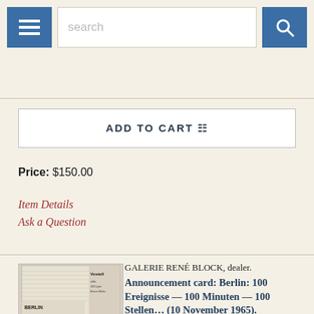search
ADD TO CART
Price: $150.00
Item Details
Ask a Question
GALERIE RENÉ BLOCK, dealer. Announcement card: Berlin: 100 Ereignisse — 100 Minuten — 100 Stellen… (10 November 1965). Thick green paper card, printed on recto only. Berlin: 1965.